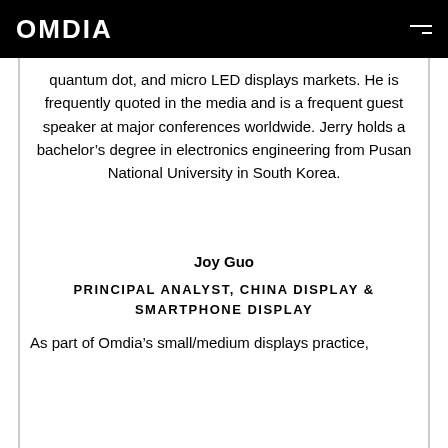OMDIA
quantum dot, and micro LED displays markets. He is frequently quoted in the media and is a frequent guest speaker at major conferences worldwide. Jerry holds a bachelor's degree in electronics engineering from Pusan National University in South Korea.
Joy Guo
PRINCIPAL ANALYST, CHINA DISPLAY & SMARTPHONE DISPLAY
As part of Omdia's small/medium displays practice,